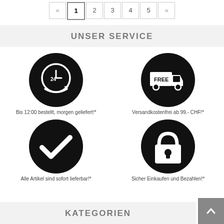[Figure (other): Pagination bar showing « 1 2 3 4 5 »]
UNSER SERVICE
[Figure (illustration): Clock with arrow icon in black circle — Bis 12:00 bestellt, morgen geliefert!*]
[Figure (illustration): Free shipping truck icon in black circle — Versandkostenfrei ab 99.- CHF!*]
[Figure (illustration): Checkmark icon in black circle — Alle Artikel sind sofort lieferbar!*]
[Figure (illustration): Padlock icon in black circle — Sicher Einkaufen und Bezahlen!*]
KATEGORIEN